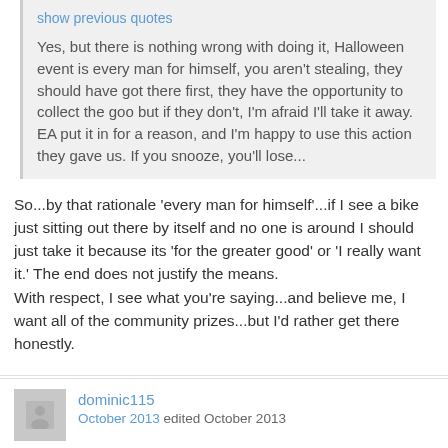show previous quotes
Yes, but there is nothing wrong with doing it, Halloween event is every man for himself, you aren't stealing, they should have got there first, they have the opportunity to collect the goo but if they don't, I'm afraid I'll take it away. EA put it in for a reason, and I'm happy to use this action they gave us. If you snooze, you'll lose...
So...by that rationale 'every man for himself'...if I see a bike just sitting out there by itself and no one is around I should just take it because its 'for the greater good' or 'I really want it.' The end does not justify the means.
With respect, I see what you're saying...and believe me, I want all of the community prizes...but I'd rather get there honestly.
dominic115
October 2013 edited October 2013